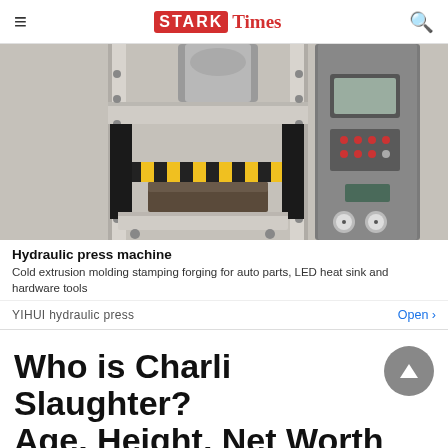STARK Times
[Figure (photo): Hydraulic press machine — large industrial press with yellow and black safety striping, control panel on the right side, multiple bolts and mechanical components visible.]
Hydraulic press machine
Cold extrusion molding stamping forging for auto parts, LED heat sink and hardware tools
YIHUI hydraulic press
Who is Charli Slaughter? Age, Height, Net Worth